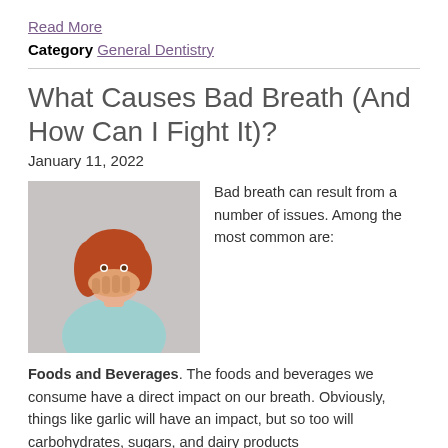Read More
Category General Dentistry
What Causes Bad Breath (And How Can I Fight It)?
January 11, 2022
[Figure (photo): Woman with red hair covering her mouth with her hand, wearing a light blue top, against a gray background]
Bad breath can result from a number of issues. Among the most common are:
Foods and Beverages. The foods and beverages we consume have a direct impact on our breath. Obviously, things like garlic will have an impact, but so too will carbohydrates, sugars, and dairy products
How to Fight It. Brush your teeth after every